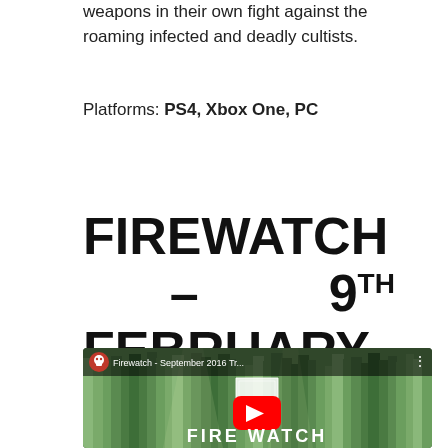weapons in their own fight against the roaming infected and deadly cultists.
Platforms: PS4, Xbox One, PC
FIREWATCH – 9TH FEBRUARY
[Figure (screenshot): YouTube video thumbnail for Firewatch - September 2016 Tr... showing forest scene with YouTube play button and Firewatch logo overlay]